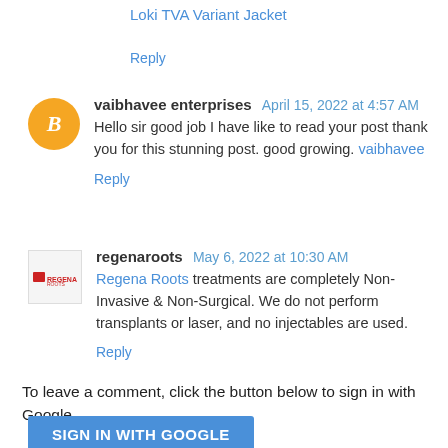Loki TVA Variant Jacket
Reply
vaibhavee enterprises  April 15, 2022 at 4:57 AM
Hello sir good job I have like to read your post thank you for this stunning post. good growing. vaibhavee
Reply
regenaroots  May 6, 2022 at 10:30 AM
Regena Roots treatments are completely Non-Invasive & Non-Surgical. We do not perform transplants or laser, and no injectables are used.
Reply
To leave a comment, click the button below to sign in with Google.
SIGN IN WITH GOOGLE